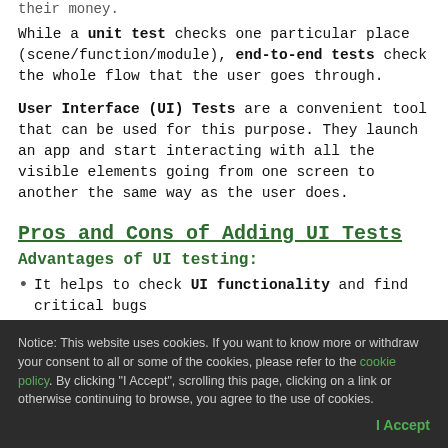their money.
While a unit test checks one particular place (scene/function/module), end-to-end tests check the whole flow that the user goes through.
User Interface (UI) Tests are a convenient tool that can be used for this purpose. They launch an app and start interacting with all the visible elements going from one screen to another the same way as the user does.
Pros and Cons of Adding UI Tests
Advantages of UI testing:
It helps to check UI functionality and find critical bugs